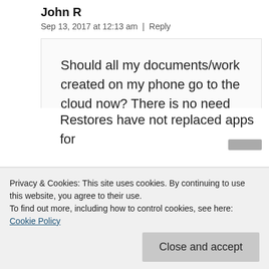John R
Sep 13, 2017 at 12:13 am | Reply
Should all my documents/work created on my phone go to the cloud now? There is no need to backup to my iMac?
Privacy & Cookies: This site uses cookies. By continuing to use this website, you agree to their use.
To find out more, including how to control cookies, see here: Cookie Policy
Close and accept
Restores have not replaced apps for